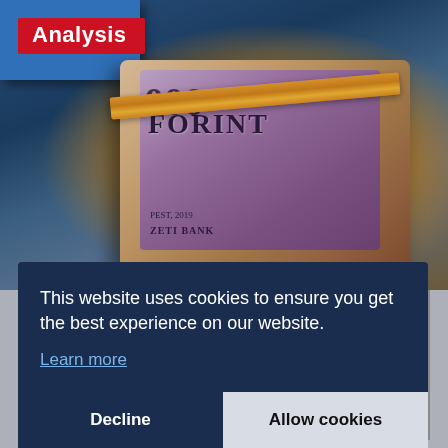[Figure (photo): A rolled bundle of 10000 Hungarian Forint banknotes held together by a rubber band, placed on a wooden surface next to a blue metal cash box. The banknote shows '10000', 'FORINT', 'NEMZETI BANK', and '2019'. A red badge reading 'Analysis' is overlaid at the top-left.]
This website uses cookies to ensure you get the best experience on our website.
Learn more
Decline
Allow cookies